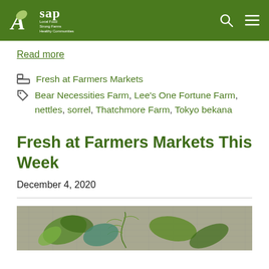ASAP - Local Food Strong Farms Healthy Communities
Read more
Fresh at Farmers Markets
Bear Necessities Farm, Lee's One Fortune Farm, nettles, sorrel, Thatchmore Farm, Tokyo bekana
Fresh at Farmers Markets This Week
December 4, 2020
[Figure (photo): Photo of fresh greens and vegetables on a burlap surface]